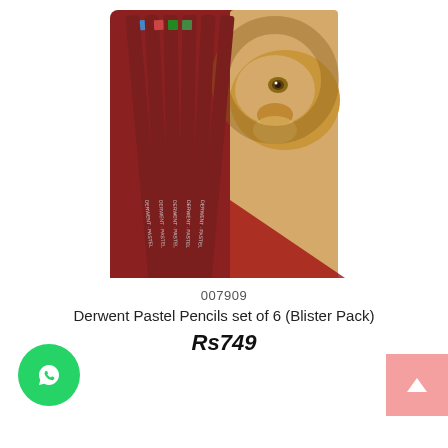[Figure (photo): Derwent Pastel Pencils set of 6 in a tin blister pack with a lion illustration on the packaging. Six dark red/maroon colored pencils are shown fanned out.]
007909
Derwent Pastel Pencils set of 6 (Blister Pack)
Rs749